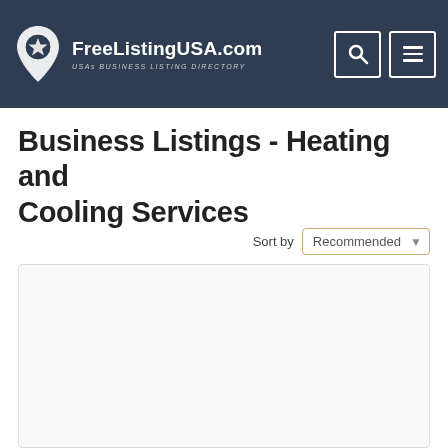FreeListingUSA.com — USAs BUSINESS LISTING DIRECTORY
Business Listings - Heating and Cooling Services
Sort by Recommended